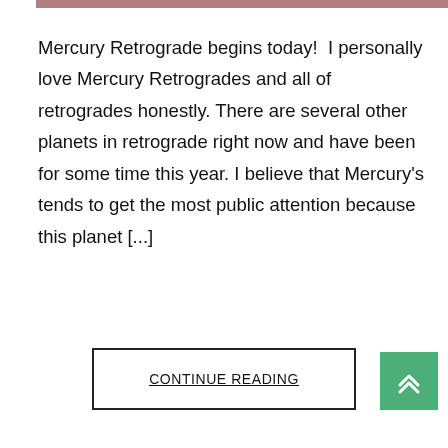[Figure (photo): Top strip of an image partially visible at the top of the page]
Mercury Retrograde begins today!  I personally love Mercury Retrogrades and all of retrogrades honestly. There are several other planets in retrograde right now and have been for some time this year. I believe that Mercury's tends to get the most public attention because this planet [...]
CONTINUE READING
[Figure (other): Green scroll-to-top button with double up-arrow chevron icon]